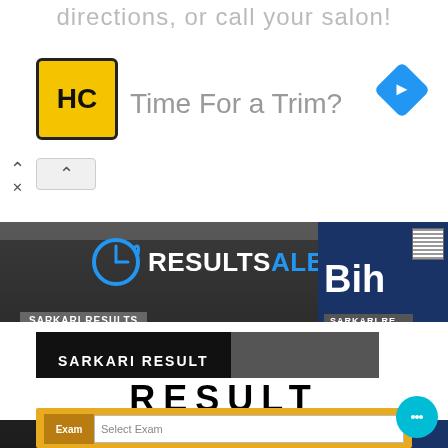[Figure (screenshot): Advertisement banner: HC logo (yellow/black), 'Time For a Trim?' text, navigation icon, close button with up arrow. Background is white with grey text 'directions, or call your salon!' at top.]
[Figure (screenshot): ResultsAlertAC website banner showing logo with clock icon, SARKARI RESULTS badge, article text about Palamuru University Degree Results 2022 PU 1st 3rd 5th Sem UG PG Result Date at palamuruuniversity.com, red 'Check Here' overlay text, and @Resultsalertac.in URL in blue italic. Right side shows partial Bihar dark blue banner.]
SARKARI RESULT
RESULT
[Figure (screenshot): Partial yellow form area with Exam label and Select Exam dropdown, partially visible at bottom of page.]